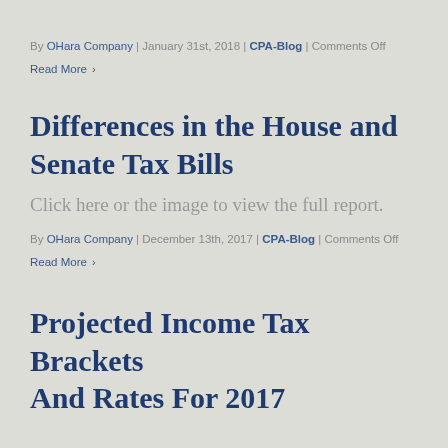By OHara Company | January 31st, 2018 | CPA-Blog | Comments Off
Read More ›
Differences in the House and Senate Tax Bills
Click here or the image to view the full report.
By OHara Company | December 13th, 2017 | CPA-Blog | Comments Off
Read More ›
Projected Income Tax Brackets And Rates For 2017